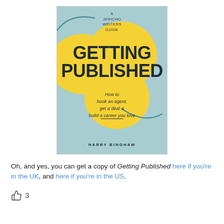[Figure (illustration): Book cover of 'Getting Published' by Harry Bingham, a Jericho Writers Guide. Light teal/mint background with large yellow circular blobs and decorative swash lines. Bold dark navy title text reads 'GETTING PUBLISHED'. Subtitle: 'How to hook an agent, get a deal & build a career you love'. Author: HARRY BINGHAM.]
Oh, and yes, you can get a copy of Getting Published here if you're in the UK, and here if you're in the US.
👍 3